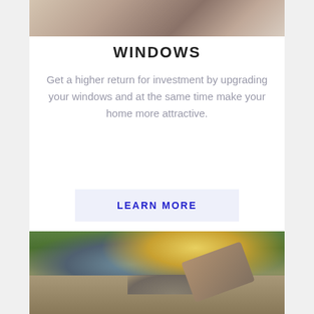[Figure (photo): Top portion of a photo showing what appears to be windows or interior home elements, partially cropped]
WINDOWS
Get a higher return for investment by upgrading your windows and at the same time make your home more attractive.
LEARN MORE
[Figure (photo): Construction workers pouring concrete from a chute/wheelbarrow at a construction site, with workers visible in the background]